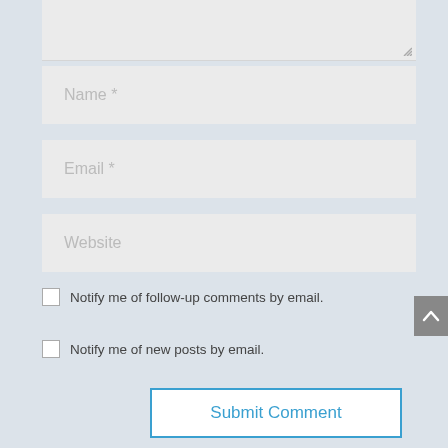[Figure (screenshot): Partial comment form showing textarea bottom edge with resize handle, three input fields (Name, Email, Website), two checkbox rows, and a Submit Comment button on a light gray page background.]
Name *
Email *
Website
Notify me of follow-up comments by email.
Notify me of new posts by email.
Submit Comment